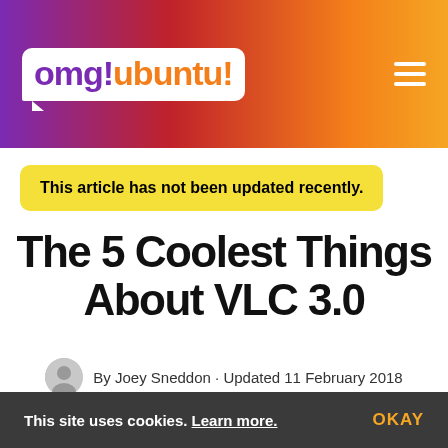omg! ubuntu!
This article has not been updated recently.
The 5 Coolest Things About VLC 3.0
By Joey Sneddon · Updated 11 February 2018
Tweet  Post  Send  83
This site uses cookies. Learn more.  OKAY